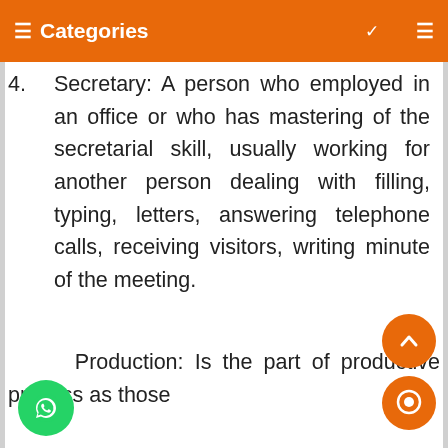≡ Categories ∨  ≡
4.    Secretary: A person who employed in an office or who has mastering of the secretarial skill, usually working for another person dealing with filling, typing, letters, answering telephone calls, receiving visitors, writing minute of the meeting.
Production: Is the part of productive process as those